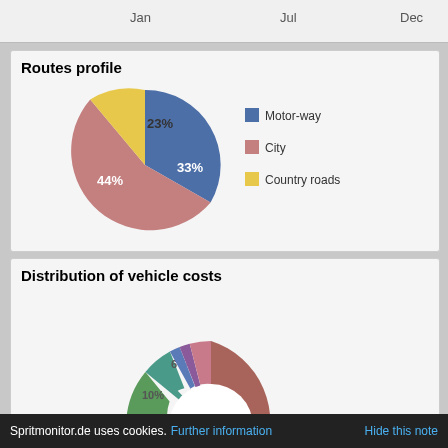[Figure (other): Top portion showing Jan, Jul, Dec axis labels from a previous chart]
[Figure (pie-chart): Routes profile]
[Figure (donut-chart): Distribution of vehicle costs]
Spritmonitor.de uses cookies. Further information   Hide this note